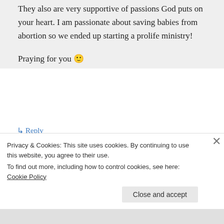They also are very supportive of passions God puts on your heart. I am passionate about saving babies from abortion so we ended up starting a prolife ministry!

Praying for you 🙂
↳ Reply
What is next on November 6, 2014 at 2:46 am
Privacy & Cookies: This site uses cookies. By continuing to use this website, you agree to their use.
To find out more, including how to control cookies, see here: Cookie Policy
Close and accept